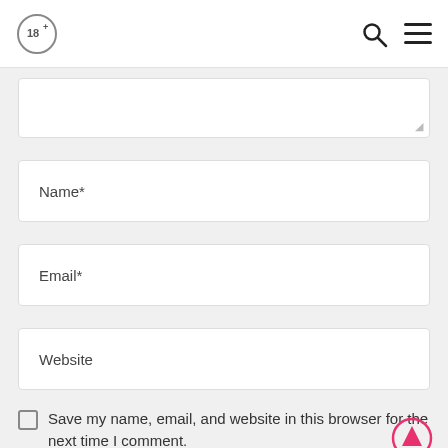18+ logo with search and menu icons
[Figure (screenshot): Partial textarea input field at top of content area]
Name*
Email*
Website
Save my name, email, and website in this browser for the next time I comment.